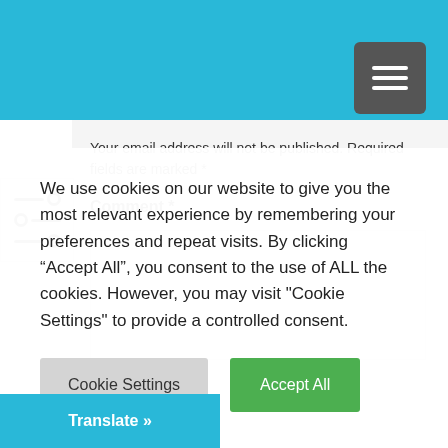Your email address will not be published. Required fields are marked *
Comment *
We use cookies on our website to give you the most relevant experience by remembering your preferences and repeat visits. By clicking “Accept All”, you consent to the use of ALL the cookies. However, you may visit "Cookie Settings" to provide a controlled consent.
Cookie Settings | Accept All
Translate »